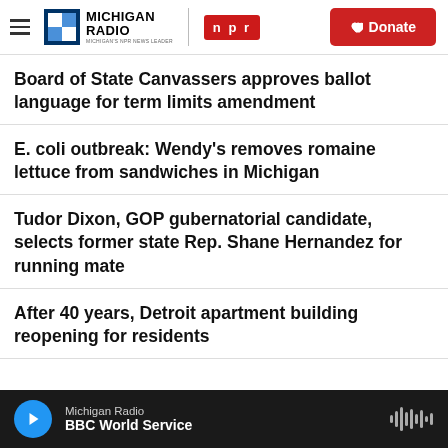Michigan Radio | NPR | Donate
Board of State Canvassers approves ballot language for term limits amendment
E. coli outbreak: Wendy's removes romaine lettuce from sandwiches in Michigan
Tudor Dixon, GOP gubernatorial candidate, selects former state Rep. Shane Hernandez for running mate
After 40 years, Detroit apartment building reopening for residents
Michigan Radio | BBC World Service